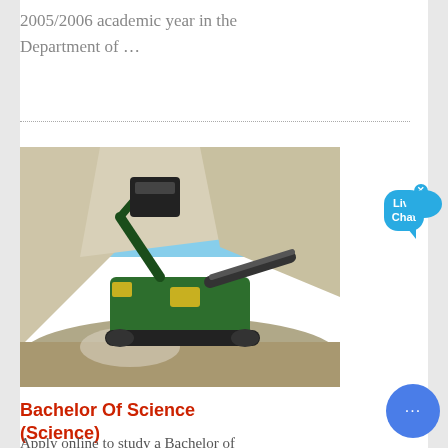2005/2006 academic year in the Department of …
[Figure (photo): Green heavy mining/crushing machinery operating at a quarry site with rocky white/grey cliffs and blue sky in background.]
Bachelor Of Science (Science)
Apply online to study a Bachelor of Science (Science) at the University of ...